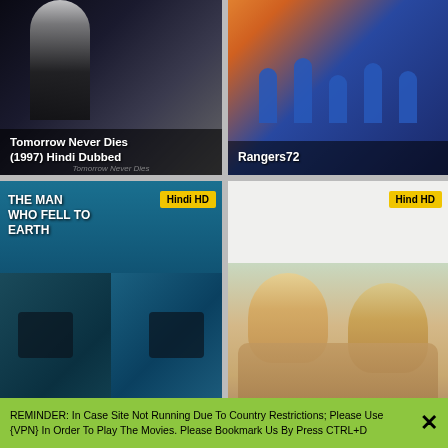[Figure (screenshot): Movie thumbnail: Tomorrow Never Dies (1997) Hindi Dubbed - dark suited figure]
Tomorrow Never Dies (1997) Hindi Dubbed
[Figure (screenshot): Movie thumbnail: Rangers72 - soccer/football players in blue uniforms]
Rangers72
[Figure (screenshot): Movie thumbnail: The Man Who Fell to Earth (2022 EP 10) Hindi Dubbed Season 1 - close up face split image with teal background, badge: Hindi HD]
The Man Who Fell to Earth (2022 EP 10) Hindi Dubbed Season 1
[Figure (screenshot): Movie thumbnail: Love Happens (2009) Hindi Dubbed - couple embracing outdoors, badge: Hind HD]
Love Happens (2009) Hindi Dubbed
[Figure (screenshot): Partial movie thumbnail bottom left - explosion scene, badge: Hindi HD]
[Figure (screenshot): Partial movie thumbnail bottom right - dark background with text INTRIGUING EXCITING AND INVOLVING, badge: Hindi HD]
REMINDER: In Case Site Not Running Due To Country Restrictions; Please Use {VPN} In Order To Play The Movies. Please Bookmark Us By Press CTRL+D